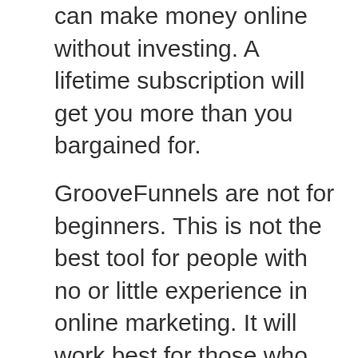can make money online without investing. A lifetime subscription will get you more than you bargained for.
GrooveFunnels are not for beginners. This is not the best tool for people with no or little experience in online marketing. It will work best for those who can develop their own online businesses. It can also be used to market to your email subscribers. The more people in your email list, you make, the more money you can make. Besides, it will help you sell physical or digital products. It will help you push your leads deeper into your funnel to increase your conversions.
The user-friendly interface makes it easy for those with little experience in online...